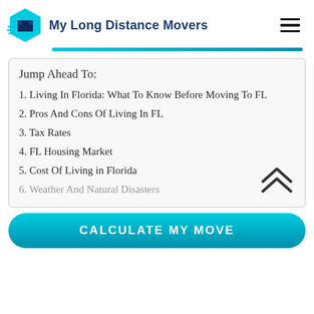My Long Distance Movers
Jump Ahead To:
1. Living In Florida: What To Know Before Moving To FL
2. Pros And Cons Of Living In FL
3. Tax Rates
4. FL Housing Market
5. Cost Of Living in Florida
6. Weather And Natural Disasters
CALCULATE MY MOVE